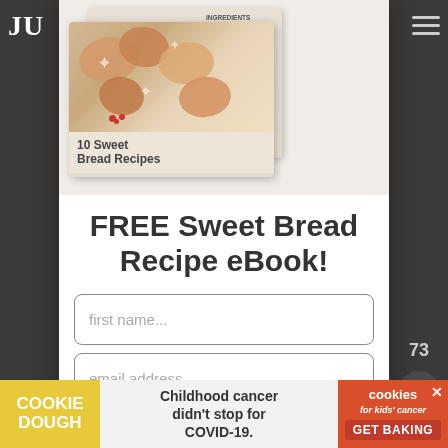[Figure (screenshot): Website screenshot showing a popup modal over a dark background. The modal contains an image of a '10 Sweet Bread Recipes' eBook, a headline 'FREE Sweet Bread Recipe eBook!', a 'first name...' input field, and an 'email address...' input field. A close X button is in the top right. The background shows partial website navigation with 'JU' brand text and hamburger menu. At the bottom is a Cookie Dough ad banner reading 'Childhood cancer didn't stop for COVID-19. GET BAKING']
FREE Sweet Bread Recipe eBook!
first name...
email address...
COOKIE DOUGH
Childhood cancer didn't stop for COVID-19.
GET BAKING